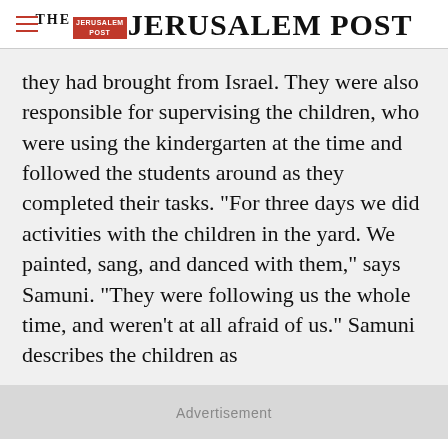THE JERUSALEM POST
they had brought from Israel. They were also responsible for supervising the children, who were using the kindergarten at the time and followed the students around as they completed their tasks. "For three days we did activities with the children in the yard. We painted, sang, and danced with them," says Samuni. "They were following us the whole time, and weren't at all afraid of us." Samuni describes the children as
Advertisement